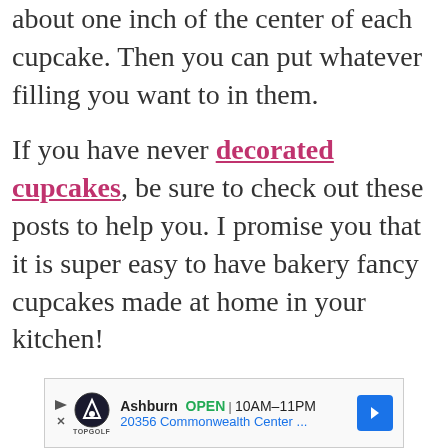about one inch of the center of each cupcake. Then you can put whatever filling you want to in them.
If you have never decorated cupcakes, be sure to check out these posts to help you. I promise you that it is super easy to have bakery fancy cupcakes made at home in your kitchen!
[Figure (other): Advertisement banner for Topgolf in Ashburn showing OPEN 10AM-11PM, 20356 Commonwealth Center...]